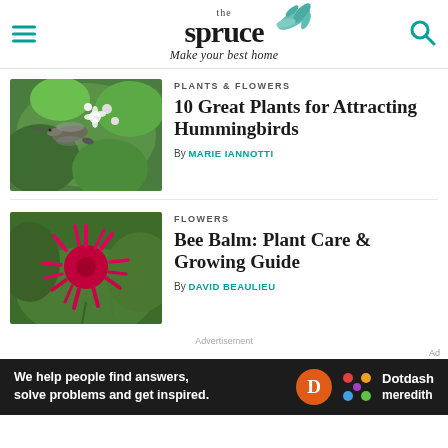the spruce — Make your best home
PLANTS & FLOWERS
10 Great Plants for Attracting Hummingbirds
By MARIE IANNOTTI
[Figure (photo): Hummingbird feeding on white flowers with green foliage background]
FLOWERS
Bee Balm: Plant Care & Growing Guide
By DAVID BEAULIEU
[Figure (photo): Bright pink/red Bee Balm flower with spiky petals against green background]
Advertisement
[Figure (infographic): Dotdash Meredith advertisement banner: We help people find answers, solve problems and get inspired.]